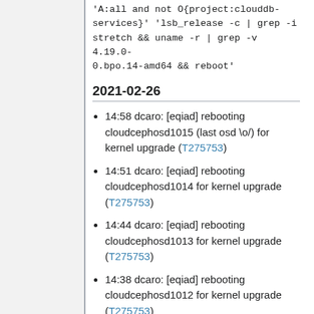'A:all and not O{project:clouddb-services}' 'lsb_release -c | grep -i stretch && uname -r | grep -v 4.19.0-0.bpo.14-amd64 && reboot'
2021-02-26
14:58 dcaro: [eqiad] rebooting cloudcephosd1015 (last osd \o/) for kernel upgrade (T275753)
14:51 dcaro: [eqiad] rebooting cloudcephosd1014 for kernel upgrade (T275753)
14:44 dcaro: [eqiad] rebooting cloudcephosd1013 for kernel upgrade (T275753)
14:38 dcaro: [eqiad] rebooting cloudcephosd1012 for kernel upgrade (T275753)
14:31 dcaro: [eqiad] rebooting cloudcephosd1011 for kernel